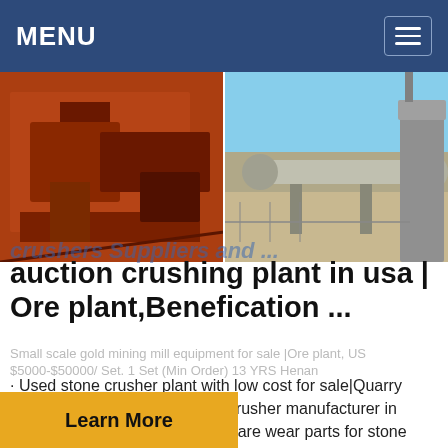MENU
[Figure (photo): Two industrial photos side by side: left shows orange heavy machinery crusher equipment; right shows a rotary kiln or drum in an arid industrial setting with a tall silo structure.]
crushers Suppliers and ...
auction crushing plant in usa | Ore plant,Benefication ...
Small scale gold mining mill equipment for sale |Ore plant, US $5000-$50000/ Set. 1 Set (Min Order) 13 YRS Henan
· Used stone crusher plant with low cost for sale|Quarry Machinery is a expert of stone crusher manufacturer in China, supplies crushers and spare wear parts for stone quarry, mine mining in USA, UAE, Japan, South Africa.
Learn More
Learn More